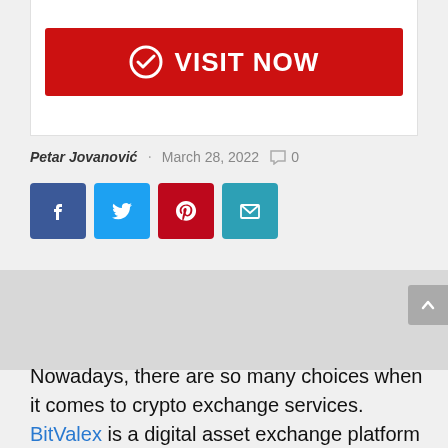[Figure (other): Red 'VISIT NOW' button with white checkmark icon inside a white card panel]
Petar Jovanović · March 28, 2022 ○ 0
[Figure (other): Social media share buttons: Facebook (blue), Twitter (light blue), Pinterest (red), Email (teal)]
Nowadays, there are so many choices when it comes to crypto exchange services. BitValex is a digital asset exchange platform that offers built-